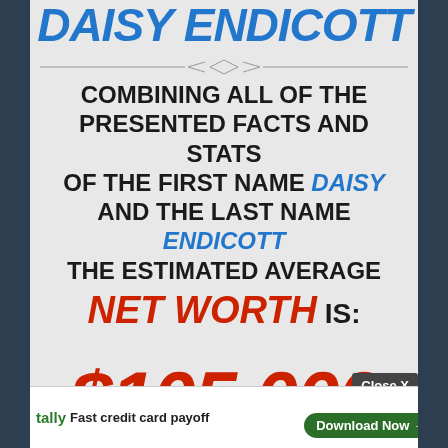DAISY ENDICOTT
COMBINING ALL OF THE PRESENTED FACTS AND STATS OF THE FIRST NAME DAISY AND THE LAST NAME ENDICOTT THE ESTIMATED AVERAGE NET WORTH IS:
$105,000